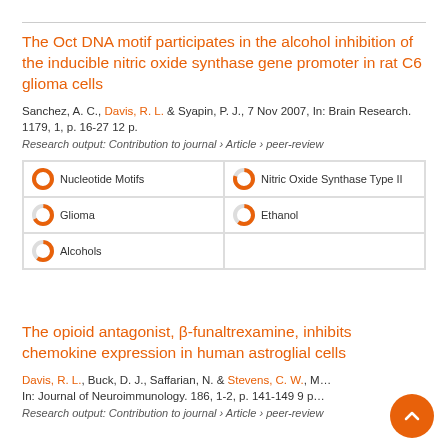The Oct DNA motif participates in the alcohol inhibition of the inducible nitric oxide synthase gene promoter in rat C6 glioma cells
Sanchez, A. C., Davis, R. L. & Syapin, P. J., 7 Nov 2007, In: Brain Research. 1179, 1, p. 16-27 12 p.
Research output: Contribution to journal › Article › peer-review
Nucleotide Motifs
Nitric Oxide Synthase Type II
Glioma
Ethanol
Alcohols
The opioid antagonist, β-funaltrexamine, inhibits chemokine expression in human astroglial cells
Davis, R. L., Buck, D. J., Saffarian, N. & Stevens, C. W., M... In: Journal of Neuroimmunology. 186, 1-2, p. 141-149 9 p...
Research output: Contribution to journal › Article › peer-review